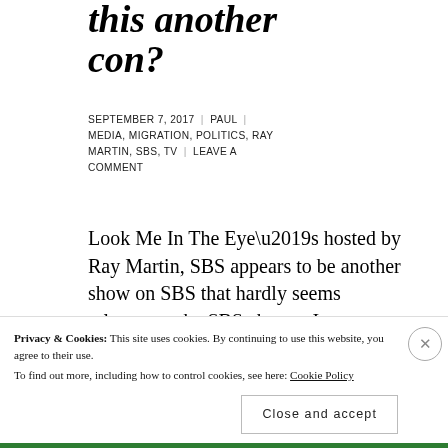this another con?
SEPTEMBER 7, 2017 | PAUL | MEDIA, MIGRATION, POLITICS, RAY MARTIN, SBS, TV | LEAVE A COMMENT
Look Me In The Eye’s hosted by Ray Martin, SBS appears to be another show on SBS that hardly seems relevant to the SBS charter. It seems more oriented to providing Ray Martin with welfare in his old
Privacy & Cookies: This site uses cookies. By continuing to use this website, you agree to their use.
To find out more, including how to control cookies, see here: Cookie Policy
Close and accept